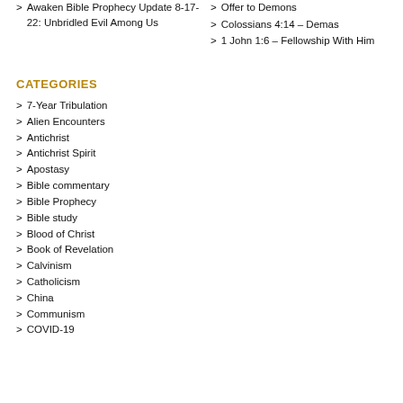> Awaken Bible Prophecy Update 8-17-22: Unbridled Evil Among Us
> Offer to Demons
> Colossians 4:14 – Demas
> 1 John 1:6 – Fellowship With Him
CATEGORIES
> 7-Year Tribulation
> Alien Encounters
> Antichrist
> Antichrist Spirit
> Apostasy
> Bible commentary
> Bible Prophecy
> Bible study
> Blood of Christ
> Book of Revelation
> Calvinism
> Catholicism
> China
> Communism
> COVID-19
> D...